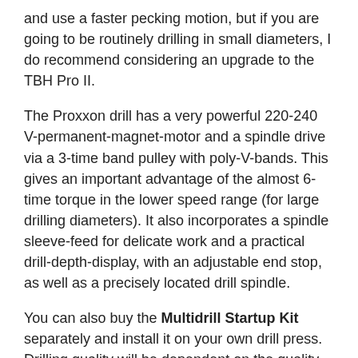and use a faster pecking motion, but if you are going to be routinely drilling in small diameters, I do recommend considering an upgrade to the TBH Pro II.
The Proxxon drill has a very powerful 220-240 V-permanent-magnet-motor and a spindle drive via a 3-time band pulley with poly-V-bands. This gives an important advantage of the almost 6-time torque in the lower speed range (for large drilling diameters). It also incorporates a spindle sleeve-feed for delicate work and a practical drill-depth-display, with an adjustable end stop, as well as a precisely located drill spindle.
You can also buy the Multidrill Startup Kit separately and install it on your own drill press. Drilling quality will be dependent on the quality of your press. Of note for both the Hobby and the Multidrill Startup Kit – both have a spring-loaded ejector needle that can clog on smaller diameter bits.